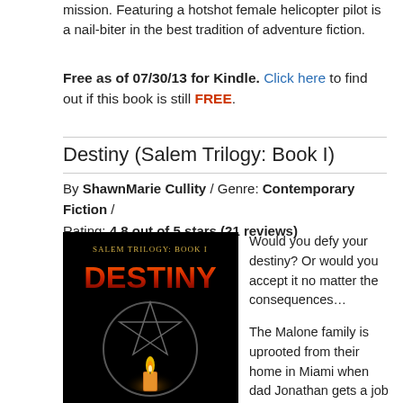mission. Featuring a hotshot female helicopter pilot is a nail-biter in the best tradition of adventure fiction.
Free as of 07/30/13 for Kindle. Click here to find out if this book is still FREE.
Destiny (Salem Trilogy: Book I)
By ShawnMarie Cullity / Genre: Contemporary Fiction / Rating: 4.8 out of 5 stars (21 reviews)
[Figure (photo): Book cover for Destiny (Salem Trilogy: Book I) showing a pentagram with a candle flame on a black background, with title text 'Salem Trilogy: Book I' and 'DESTINY' in orange/red letters]
Would you defy your destiny? Or would you accept it no matter the consequences…
The Malone family is uprooted from their home in Miami when dad Jonathan gets a job offer that is impossible to refuse. The offer includes use of a huge, historic house, and tuition to one of the world's most